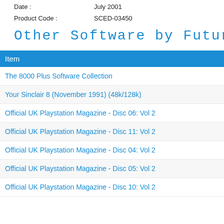Date :    July 2001
Product Code :    SCED-03450
Other Software by Future
| Item |
| --- |
| The 8000 Plus Software Collection |
| Your Sinclair 8 (November 1991) (48k/128k) |
| Official UK Playstation Magazine - Disc 06: Vol 2 |
| Official UK Playstation Magazine - Disc 11: Vol 2 |
| Official UK Playstation Magazine - Disc 04: Vol 2 |
| Official UK Playstation Magazine - Disc 05: Vol 2 |
| Official UK Playstation Magazine - Disc 10: Vol 2 |